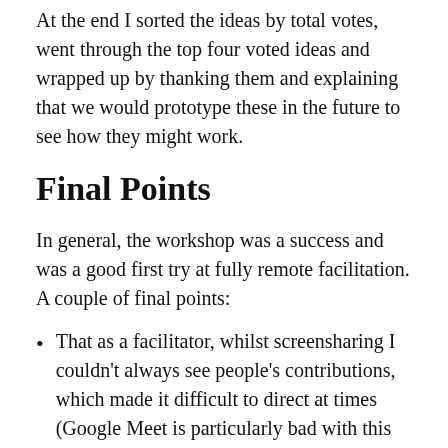At the end I sorted the ideas by total votes, went through the top four voted ideas and wrapped up by thanking them and explaining that we would prototype these in the future to see how they might work.
Final Points
In general, the workshop was a success and was a good first try at fully remote facilitation. A couple of final points:
That as a facilitator, whilst screensharing I couldn't always see people's contributions, which made it difficult to direct at times (Google Meet is particularly bad with this when it comes to screensharing as there isn't a separate hovering camera view, like you get in Zoom and Skype. Instead you have to have Meet in a tab in your